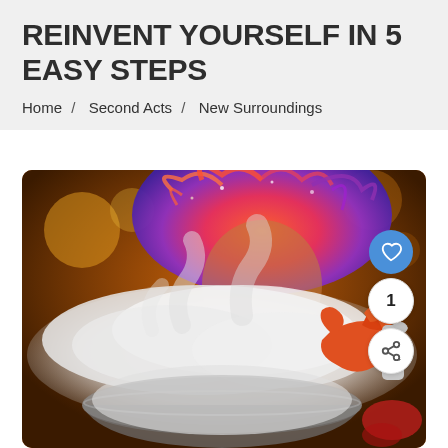REINVENT YOURSELF IN 5 EASY STEPS
Home /  Second Acts /  New Surroundings
[Figure (photo): A person with vivid orange and pink wild hair standing over a large bowl filled with dramatic white smoke/dry ice vapor, wearing orange rubber gloves and holding a spray bottle. Warm orange ambient lighting in the background.]